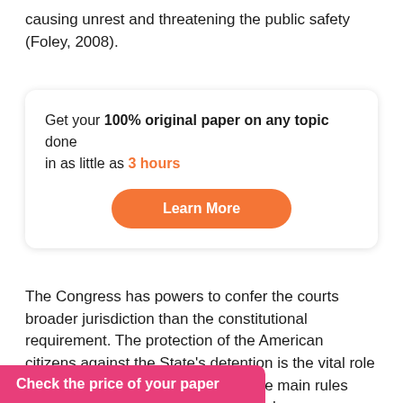causing unrest and threatening the public safety (Foley, 2008).
[Figure (infographic): Advertisement box: 'Get your 100% original paper on any topic done in as little as 3 hours' with a Learn More button in orange.]
The Congress has powers to confer the courts broader jurisdiction than the constitutional requirement. The protection of the American citizens against the State's detention is the vital role of the writ of the habeas corpus. The main rules governing the usage of the writ of habeas corpus are jurisdiction, substantive rules and procedural
Check the price of your paper